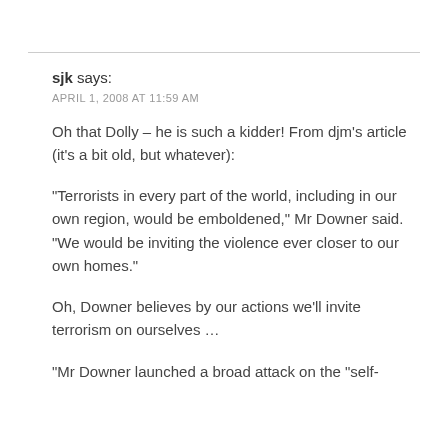sjk says:
APRIL 1, 2008 AT 11:59 AM
Oh that Dolly – he is such a kidder! From djm's article (it's a bit old, but whatever):
“Terrorists in every part of the world, including in our own region, would be emboldened,” Mr Downer said. “We would be inviting the violence ever closer to our own homes.”
Oh, Downer believes by our actions we'll invite terrorism on ourselves …
“Mr Downer launched a broad attack on the “self-